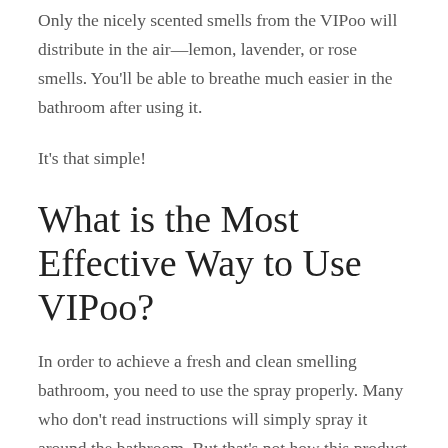Only the nicely scented smells from the VIPoo will distribute in the air—lemon, lavender, or rose smells. You'll be able to breathe much easier in the bathroom after using it.
It's that simple!
What is the Most Effective Way to Use VIPoo?
In order to achieve a fresh and clean smelling bathroom, you need to use the spray properly. Many who don't read instructions will simply spray it around the bathroom. But that's not how this product works. In fact, that method does little to hide the odours, masking them instead. It can also turn people off from using those fragrances again.